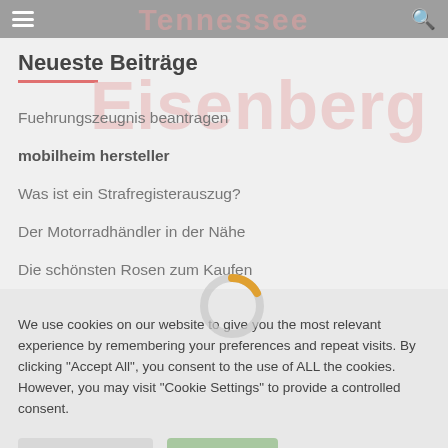Tennessee
Neueste Beiträge
[Figure (other): Eisenberg watermark text in light pink behind list items]
Fuehrungszeugnis beantragen
mobilheim hersteller
Was ist ein Strafregisterauszug?
Der Motorradhändler in der Nähe
Die schönsten Rosen zum Kaufen
We use cookies on our website to give you the most relevant experience by remembering your preferences and repeat visits. By clicking "Accept All", you consent to the use of ALL the cookies. However, you may visit "Cookie Settings" to provide a controlled consent.